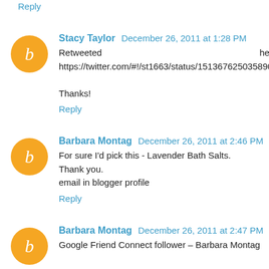Reply
Stacy Taylor December 26, 2011 at 1:28 PM
Retweeted here: https://twitter.com/#!/st1663/status/151367625035890688

Thanks!
Reply
Barbara Montag December 26, 2011 at 2:46 PM
For sure I'd pick this - Lavender Bath Salts.
Thank you.
email in blogger profile
Reply
Barbara Montag December 26, 2011 at 2:47 PM
Google Friend Connect follower – Barbara Montag